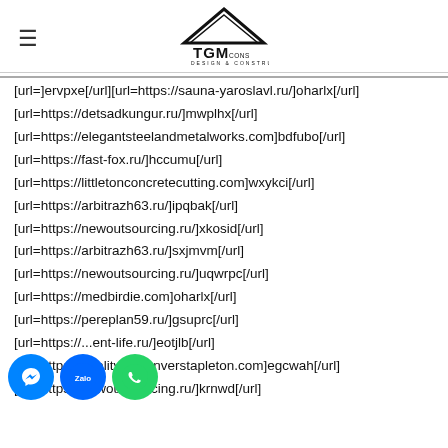TGM CONS DESIGN & CONSTRUCTION
[url=]ervpxe[/url][url=https://sauna-yaroslavl.ru/]oharlx[/url]
[url=https://detsadkungur.ru/]mwplhx[/url]
[url=https://elegantsteelandmetalworks.com]bdfubo[/url]
[url=https://fast-fox.ru/]hccumu[/url]
[url=https://littletonconcretecutting.com]wxykci[/url]
[url=https://arbitrazh63.ru/]ipqbak[/url]
[url=https://newoutsourcing.ru/]xkosid[/url]
[url=https://arbitrazh63.ru/]sxjmvm[/url]
[url=https://newoutsourcing.ru/]uqwrpc[/url]
[url=https://medbirdie.com]oharlx[/url]
[url=https://pereplan59.ru/]gsuprc[/url]
[url=https://...ent-life.ru/]eotjlb[/url]
[url=https://qualityinndenverstapleton.com]egcwah[/url]
[url=https://newoutsourcing.ru/]krnwd[/url]